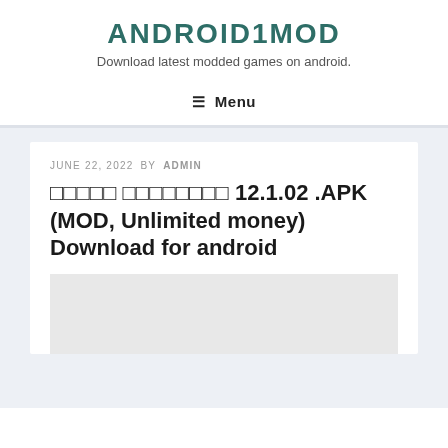ANDROID1MOD
Download latest modded games on android.
☰ Menu
JUNE 22, 2022 BY ADMIN
□□□□□ □□□□□□□□ 12.1.02 .APK (MOD, Unlimited money) Download for android